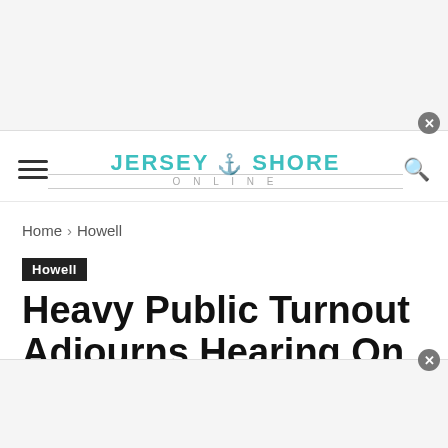[Figure (other): Top advertisement banner (gray placeholder)]
JERSEY SHORE ONLINE
Home › Howell
Howell
Heavy Public Turnout Adjourns Hearing On Asphalt Facility
By Kimberly Bosco - May 14, 2019
[Figure (other): Bottom advertisement banner (gray placeholder)]